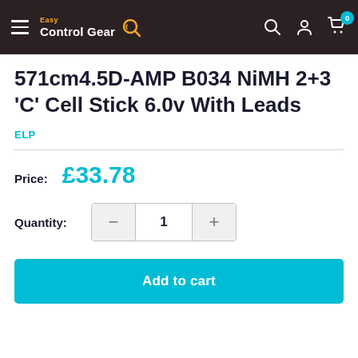Easy Control Gear — navigation header with logo, search, account, and cart icons
571cm4.5D-AMP B034 NiMH 2+3 'C' Cell Stick 6.0v With Leads
ELP
Price: £33.78
Quantity: 1
Add to cart